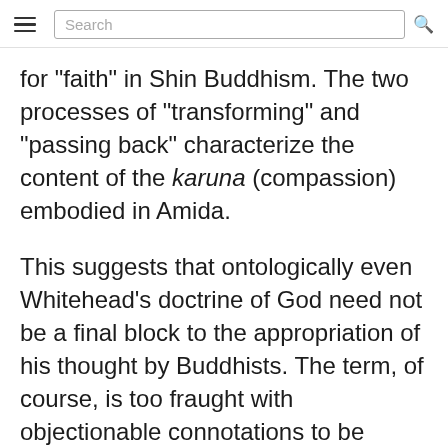Search
for "faith" in Shin Buddhism. The two processes of "transforming" and "passing back" characterize the content of the karuna (compassion) embodied in Amida.
This suggests that ontologically even Whitehead’s doctrine of God need not be a final block to the appropriation of his thought by Buddhists. The term, of course, is too fraught with objectionable connotations to be acceptable. But Whitehead is not wedded to the word. In the passage just quoted he speaks of a "reality in heaven" rather than of God.